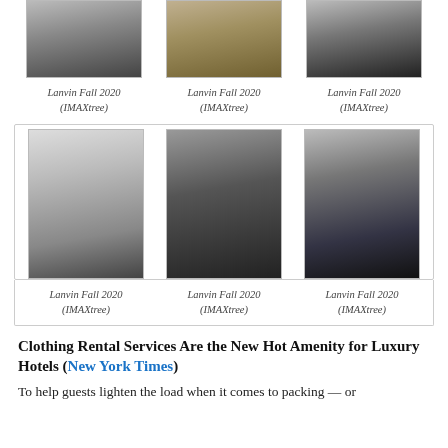[Figure (photo): Three fashion runway photos from Lanvin Fall 2020 (top row)]
Lanvin Fall 2020
(IMAXtree)
Lanvin Fall 2020
(IMAXtree)
Lanvin Fall 2020
(IMAXtree)
[Figure (photo): Three fashion runway photos from Lanvin Fall 2020 (bottom row)]
Lanvin Fall 2020
(IMAXtree)
Lanvin Fall 2020
(IMAXtree)
Lanvin Fall 2020
(IMAXtree)
Clothing Rental Services Are the New Hot Amenity for Luxury Hotels (New York Times)
To help guests lighten the load when it comes to packing — or